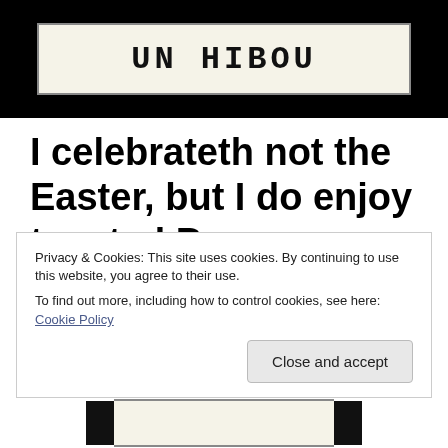[Figure (photo): Black background with a hand-lettered sign reading 'UN HIBOU' on a cream/beige paper card]
I celebrateth not the Easter, but I do enjoy toasted Peeps.
Privacy & Cookies: This site uses cookies. By continuing to use this website, you agree to their use.
To find out more, including how to control cookies, see here: Cookie Policy
Close and accept
[Figure (photo): Partial image at bottom of page showing black and white photo/illustration]